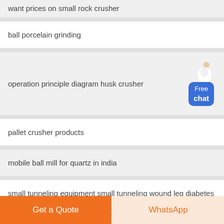want prices on small rock crusher
ball porcelain grinding
operation principle diagram husk crusher
pallet crusher products
mobile ball mill for quartz in india
small tunneling equipment small tunneling wound leg diabetes
orifice suppliers for coal mills
Get a Quote
WhatsApp